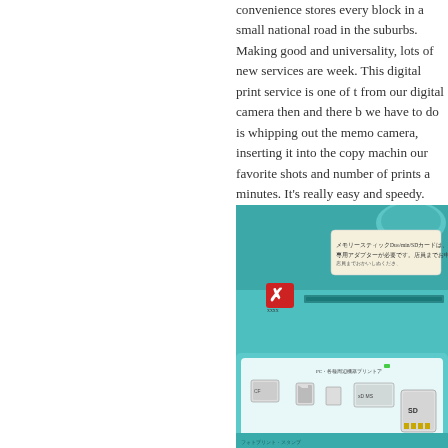convenience stores every block in a small national road in the suburbs. Making good and universality, lots of new services are week. This digital print service is one of from our digital camera then and there b we have to do is whipping out the memo camera, inserting it into the copy machin our favorite shots and number of prints a minutes. It's really easy and speedy. The yen per print and in terms of the printing distinguish from the traditional DPE serv with your friends and take a lot of picture your pictures in the end of the trip before
[Figure (photo): Close-up photo of a teal/turquoise colored copy machine or digital print kiosk, showing a memory card slot with a label in Japanese, an X button, and a panel with various memory card type icons and Japanese text instructions.]